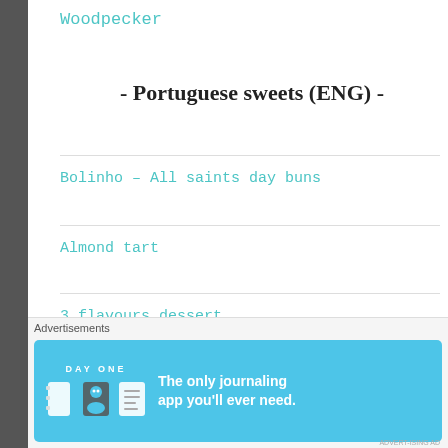Woodpecker
- Portuguese sweets (ENG) -
Bolinho – All saints day buns
Almond tart
3 flavours dessert
Chocolate Salame
Pudim de feijão (Butterbeans custard)
[Figure (screenshot): Advertisement banner for Day One journaling app with icons and text 'The only journaling app you'll ever need.']